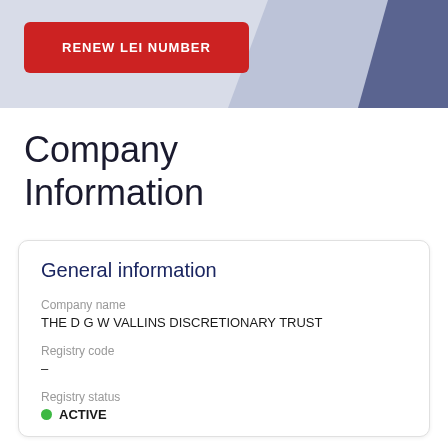RENEW LEI NUMBER
Company Information
General information
Company name
THE D G W VALLINS DISCRETIONARY TRUST
Registry code
–
Registry status
ACTIVE